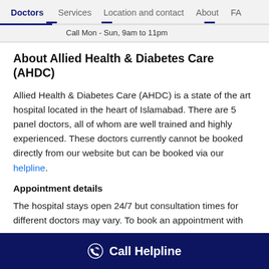Doctors  Services  Location and contact  About  FA
Call Mon - Sun, 9am to 11pm
About Allied Health & Diabetes Care (AHDC)
Allied Health & Diabetes Care (AHDC) is a state of the art hospital located in the heart of Islamabad. There are 5 panel doctors, all of whom are well trained and highly experienced. These doctors currently cannot be booked directly from our website but can be booked via our helpline.
Appointment details
The hospital stays open 24/7 but consultation times for different doctors may vary. To book an appointment with any
Call Helpline